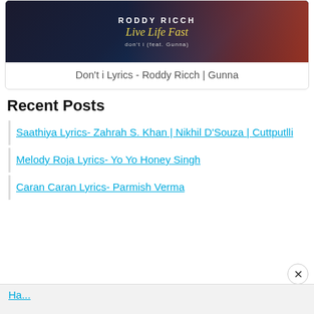[Figure (photo): Album artwork for Roddy Ricch 'Live Life Fast' showing the artist name in white uppercase letters, album title in yellow italic script, and song title 'don't i (feat. Gunna)' in gray text on a dark background with red accent]
Don't i Lyrics - Roddy Ricch | Gunna
Recent Posts
Saathiya Lyrics- Zahrah S. Khan | Nikhil D'Souza | Cuttputlli
Melody Roja Lyrics- Yo Yo Honey Singh
Caran Caran Lyrics- Parmish Verma